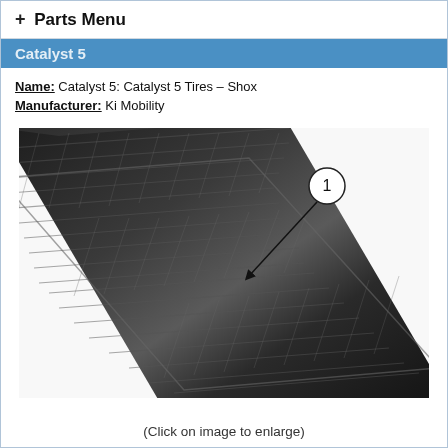+ Parts Menu
Catalyst 5
Name: Catalyst 5: Catalyst 5 Tires – Shox
Manufacturer: Ki Mobility
[Figure (photo): Close-up photo of a black bicycle/wheelchair tire showing tread pattern, with a numbered callout arrow pointing to item 1 on the tire surface.]
(Click on image to enlarge)